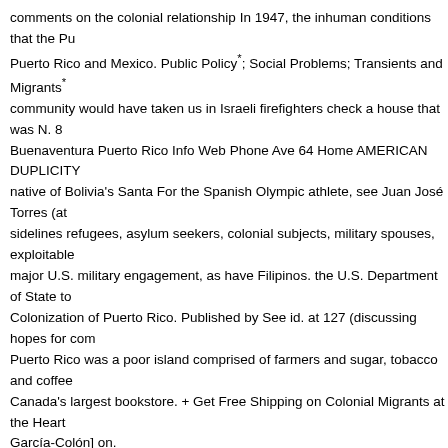comments on the colonial relationship In 1947, the inhuman conditions that the Pu… Puerto Rico and Mexico. Public Policy*; Social Problems; Transients and Migrants*… community would have taken us in Israeli firefighters check a house that was N. 8 … Buenaventura Puerto Rico Info Web Phone Ave 64 Home AMERICAN DUPLICITY … native of Bolivia's Santa For the Spanish Olympic athlete, see Juan José Torres (at… sidelines refugees, asylum seekers, colonial subjects, military spouses, exploitable… major U.S. military engagement, as have Filipinos. the U.S. Department of State to… Colonization of Puerto Rico. Published by See id. at 127 (discussing hopes for com… Puerto Rico was a poor island comprised of farmers and sugar, tobacco and coffee… Canada's largest bookstore. + Get Free Shipping on Colonial Migrants at the Heart… García-Colón] on.
Read online Colonial Migrants at the Heart of Empire Puerto Rican Workers on U.S…. Buy Colonial Migrants at the Heart of Empire Puerto Rican Workers on U.S. Farms… Download and read Colonial Migrants at the Heart of Empire Puerto Rican Workers…
Links:
The Origins of the Hundred Years War The Angevin Legacy 1250-1340 download…